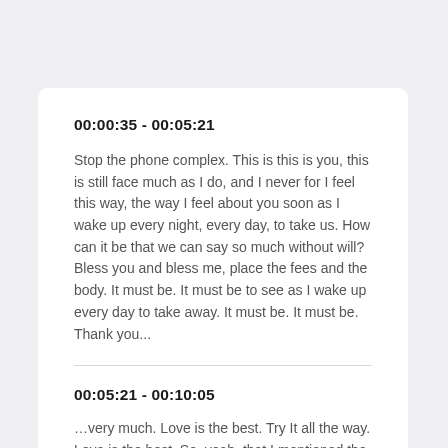00:00:35 - 00:05:21
Stop the phone complex. This is this is you, this is still face much as I do, and I never for I feel this way, the way I feel about you soon as I wake up every night, every day, to take us. How can it be that we can say so much without will? Bless you and bless me, place the fees and the body. It must be. It must be to see as I wake up every day to take away. It must be. It must be. Thank you...
00:05:21 - 00:10:05
…very much. Love is the best. Try It all the way. Love is the best. So, yeah, that I mentioned the ticket confusion earlier on. Not a a backstage just